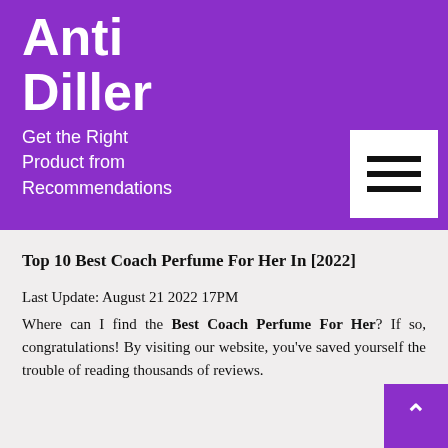Anti Diller
Get the Right Product from Recommendations
[Figure (other): Hamburger menu icon button (three horizontal lines) on white square background in the purple header]
Top 10 Best Coach Perfume For Her In [2022]
Last Update: August 21 2022 17PM
Where can I find the Best Coach Perfume For Her? If so, congratulations! By visiting our website, you've saved yourself the trouble of reading thousands of reviews.
[Figure (other): Scroll-to-top button (purple square with white upward caret/arrow) in the bottom right corner]